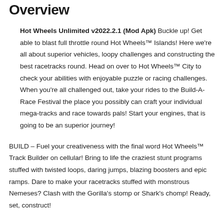Overview
Hot Wheels Unlimited v2022.2.1 (Mod Apk) Buckle up! Get able to blast full throttle round Hot Wheels™ Islands! Here we're all about superior vehicles, loopy challenges and constructing the best racetracks round. Head on over to Hot Wheels™ City to check your abilities with enjoyable puzzle or racing challenges. When you're all challenged out, take your rides to the Build-A-Race Festival the place you possibly can craft your individual mega-tracks and race towards pals! Start your engines, that is going to be an superior journey!
BUILD – Fuel your creativeness with the final word Hot Wheels™ Track Builder on cellular! Bring to life the craziest stunt programs stuffed with twisted loops, daring jumps, blazing boosters and epic ramps. Dare to make your racetracks stuffed with monstrous Nemeses? Clash with the Gorilla's stomp or Shark's chomp! Ready, set, construct!